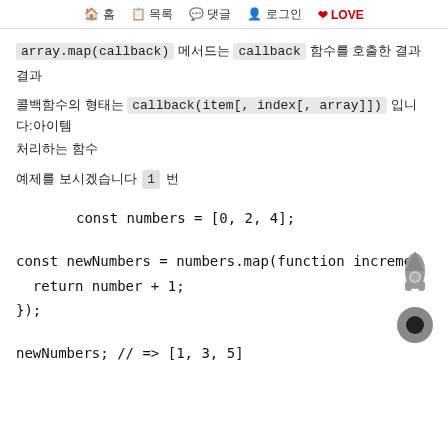🏠 홈  📋 목록  💬 댓글  👤 로그인  ❤ LOVE
array.map(callback) 메서드는 callback 함수를 호출한 결과
콜백함수의 형태는 callback(item[, index[, array]]) 입니다:아이템을 처리하는 함수
예제를 보시겠습니다 1 번